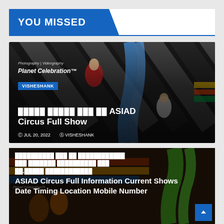YOU MISSED
[Figure (photo): Aerial circus performers on fabric silks inside a tent with black and white diagonal stripe backdrop. Watermark: Photography | Videography Planet Celebration™]
VISHESHANK
█████ █████ ███ ██ ASIAD Circus Full Show
© JUL 20, 2022  ⊙ VISHESHANK
[Figure (photo): Circus performers inside a colorful tent with green and yellow fabric visible. Mixed Hindi/English title overlay.]
██████████ ███ ██ ████████████ ███ ████████ ██████████ ███ ██.█████ ████████████ ASIAD Circus Full Information Current Shows Date Timing Location Mobile Number